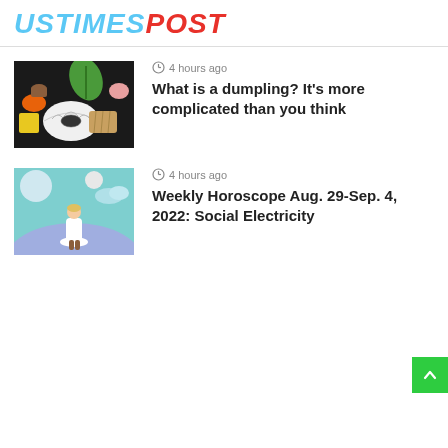USTIMESPOST
4 hours ago
[Figure (photo): Colorful illustration of various dumplings and dim sum items on a dark background]
What is a dumpling? It's more complicated than you think
4 hours ago
[Figure (illustration): Digital illustration of a woman in white dress standing on a planet or moon surface with celestial bodies in the background]
Weekly Horoscope Aug. 29-Sep. 4, 2022: Social Electricity